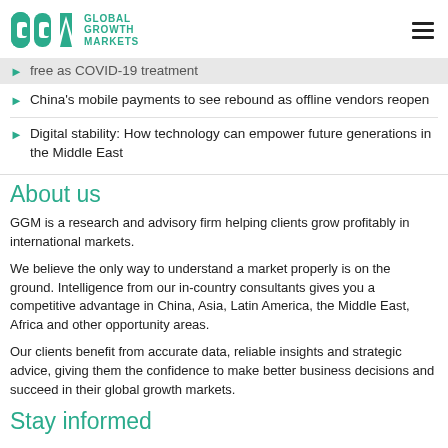Global Growth Markets
free as COVID-19 treatment
China's mobile payments to see rebound as offline vendors reopen
Digital stability: How technology can empower future generations in the Middle East
About us
GGM is a research and advisory firm helping clients grow profitably in international markets.
We believe the only way to understand a market properly is on the ground. Intelligence from our in-country consultants gives you a competitive advantage in China, Asia, Latin America, the Middle East, Africa and other opportunity areas.
Our clients benefit from accurate data, reliable insights and strategic advice, giving them the confidence to make better business decisions and succeed in their global growth markets.
Stay informed